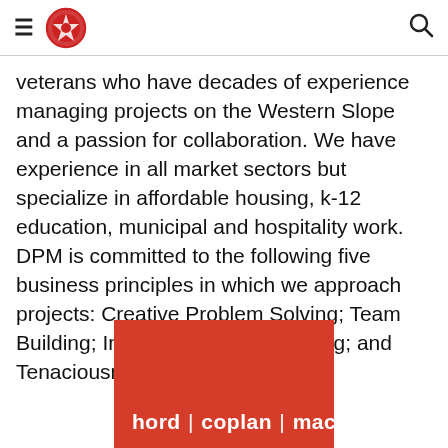Navigation header with hamburger menu, logo, and search icon
veterans who have decades of experience managing projects on the Western Slope and a passion for collaboration. We have experience in all market sectors but specialize in affordable housing, k-12 education, municipal and hospitality work. DPM is committed to the following five business principles in which we approach projects: Creative Problem Solving; Team Building; Integrity; Love of Learning; and Tenaciousness.
[Figure (logo): hord | coplan | macht logo — white text on red/coral square background]